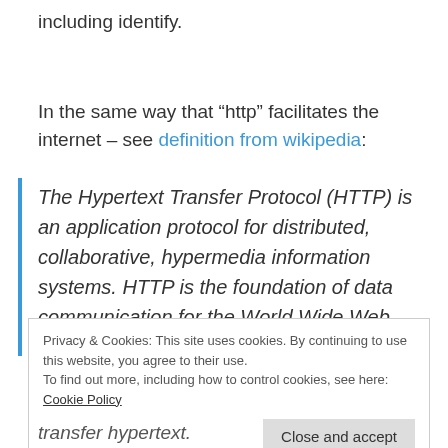including identify.
In the same way that “http” facilitates the internet – see definition from wikipedia:
The Hypertext Transfer Protocol (HTTP) is an application protocol for distributed, collaborative, hypermedia information systems. HTTP is the foundation of data communication for the World Wide Web.
Privacy & Cookies: This site uses cookies. By continuing to use this website, you agree to their use.
To find out more, including how to control cookies, see here: Cookie Policy
transfer hypertext.